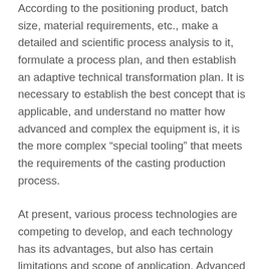According to the positioning product, batch size, material requirements, etc., make a detailed and scientific process analysis to it, formulate a process plan, and then establish an adaptive technical transformation plan. It is necessary to establish the best concept that is applicable, and understand no matter how advanced and complex the equipment is, it is the more complex “special tooling” that meets the requirements of the casting production process.
At present, various process technologies are competing to develop, and each technology has its advantages, but also has certain limitations and scope of application. Advanced and high-tech processes are not necessarily all applicable to any casting production. According to the casting quality requirements, material requirements, batch size, price level, and the company’s own conditions such as the factory site, select technically applicable